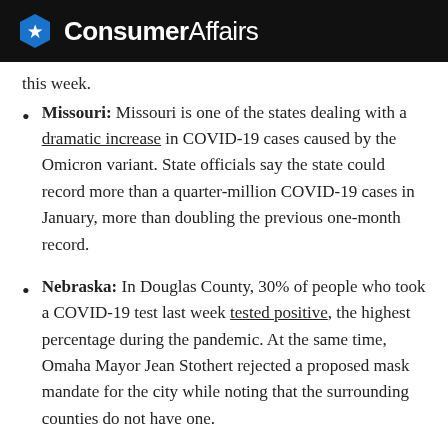ConsumerAffairs
this week.
Missouri: Missouri is one of the states dealing with a dramatic increase in COVID-19 cases caused by the Omicron variant. State officials say the state could record more than a quarter-million COVID-19 cases in January, more than doubling the previous one-month record.
Nebraska: In Douglas County, 30% of people who took a COVID-19 test last week tested positive, the highest percentage during the pandemic. At the same time, Omaha Mayor Jean Stothert rejected a proposed mask mandate for the city while noting that the surrounding counties do not have one.
Nevada: Officials have suspended visits to state